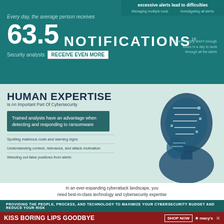Every day, the average person receives 63.5 NOTIFICATIONS¹⁶
Security analysts RECEIVE EVEN MORE
There simply aren’t enough hours in a day to work through all the alerts
Excessive alerts lead to difficulties
Managing multiple tools   Investigating all alerts
HUMAN EXPERTISE
Is An Important Part Of Cybersecurity
Trained analysts have an advantage when detecting and responding to ransomware
Spotting malicious code and warning signs
Understanding context, relevance, and attack motivation
Weeding out false positives from alerts
In an ever-expanding cyberattack landscape, you need best-in-class technology and cybersecurity expertise
PROVIDING THE PEOPLE, PROCESS, AND TECHNOLOGY TO MAXIMIZE YOUR CYBERSECURITY BUDGET AND REDUCE YOUR RISK
KISS BORING LIPS GOODBYE   SHOP NOW   ★macy’s